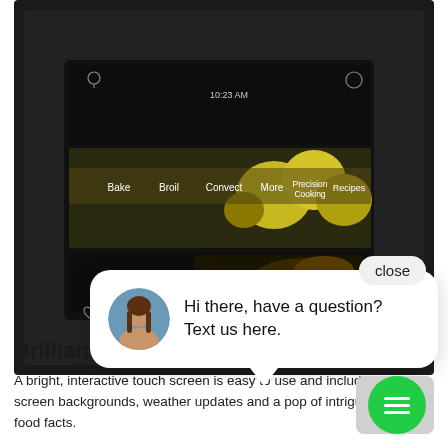[Figure (photo): Dark smart oven with a 7-inch touch display showing cooking options: Bake, Broil, Convect, More, Precision Cooking, Recipes. The screen shows food imagery including lemons and a dish.]
[Figure (screenshot): Chat widget overlay showing a close button and a chat bubble with a woman's avatar and text: Hi there, have a question? Text us here. A green chat button with lines icon appears at bottom right.]
Brilliant Touch 7" Display
A bright, interactive touch screen is easy to use and includes custom screen backgrounds, weather updates and a pop of intrigue with fun food facts.